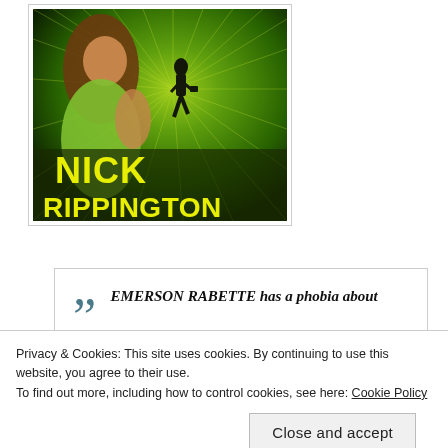[Figure (illustration): Book cover for a Nick Rippington novel. Features a woman in a green top with long hair in the foreground, a silhouetted man walking away in the background, with dramatic green radiating light effects. Bold yellow text at the bottom reads 'NICK RIPPINGTON'.]
“EMERSON RABETTE has a phobia about travelling on underground
Privacy & Cookies: This site uses cookies. By continuing to use this website, you agree to their use.
To find out more, including how to control cookies, see here: Cookie Policy
Close and accept